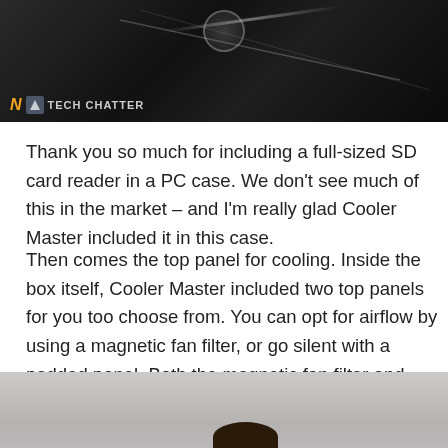[Figure (screenshot): Dark-toned close-up photo of a PC case with a circular element visible, with a logo bar showing 'N' and 'TECH CHATTER' text overlay at the bottom left]
Thank you so much for including a full-sized SD card reader in a PC case. We don't see much of this in the market – and I'm really glad Cooler Master included it in this case.
Then comes the top panel for cooling. Inside the box itself, Cooler Master included two top panels for you too choose from. You can opt for airflow by using a magnetic fan filter, or go silent with a padded panel. Both the magnetic fan filter and padded panel snaps into place nicely.
[Figure (photo): Video screenshot of a person (presenter) in front of a PC case and a large dark panel, with purple lighting in the background]